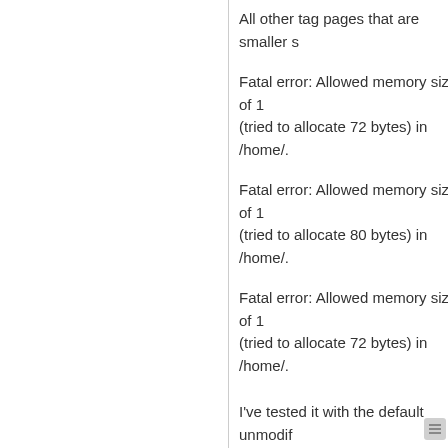All other tag pages that are smaller s
Fatal error: Allowed memory size of 1 (tried to allocate 72 bytes) in /home/.
Fatal error: Allowed memory size of 1 (tried to allocate 80 bytes) in /home/.
Fatal error: Allowed memory size of 1 (tried to allocate 72 bytes) in /home/.
I've tested it with the default unmodif I'm using custom templates for pictur no elegant template interferes with th
Any ideas why this only happens on
cheers
kyp